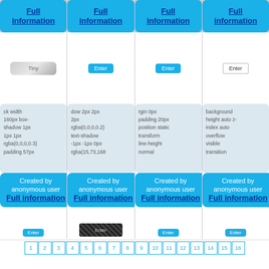[Figure (screenshot): Grid of UI component cards showing buttons and CSS snippets. Top row has 4 blue cards each labeled 'Full information'. Middle row shows 4 component previews with CSS code snippets and blue 'Created by anonymous user / Full information' cards. Bottom row shows partial previews. Pagination at bottom shows page numbers 1-16.]